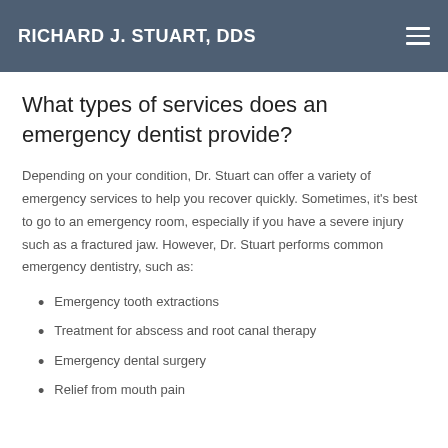RICHARD J. STUART, DDS
What types of services does an emergency dentist provide?
Depending on your condition, Dr. Stuart can offer a variety of emergency services to help you recover quickly. Sometimes, it's best to go to an emergency room, especially if you have a severe injury such as a fractured jaw. However, Dr. Stuart performs common emergency dentistry, such as:
Emergency tooth extractions
Treatment for abscess and root canal therapy
Emergency dental surgery
Relief from mouth pain